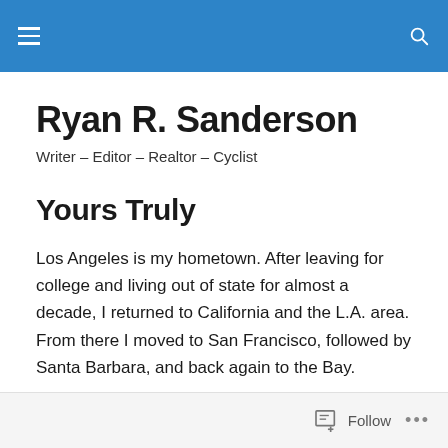Ryan R. Sanderson [site header with hamburger menu and search]
Ryan R. Sanderson
Writer – Editor – Realtor – Cyclist
Yours Truly
Los Angeles is my hometown. After leaving for college and living out of state for almost a decade, I returned to California and the L.A. area. From there I moved to San Francisco, followed by Santa Barbara, and back again to the Bay.
Follow  ...